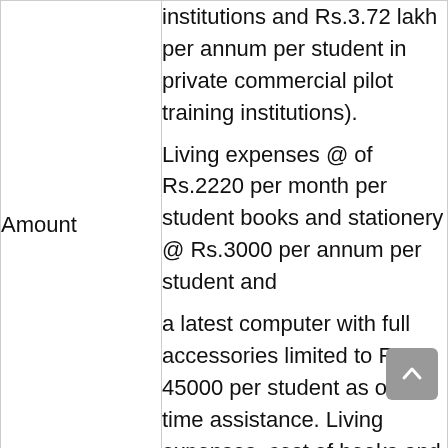| Field | Details |
| --- | --- |
| Amount | institutions and Rs.3.72 lakh per annum per student in private commercial pilot training institutions). Living expenses @ of Rs.2220 per month per student books and stationery @ Rs.3000 per annum per student and a latest computer with full accessories limited to Rs. 45000 per student as one time assistance. Living expenses, cost of books and stationery and computer are |